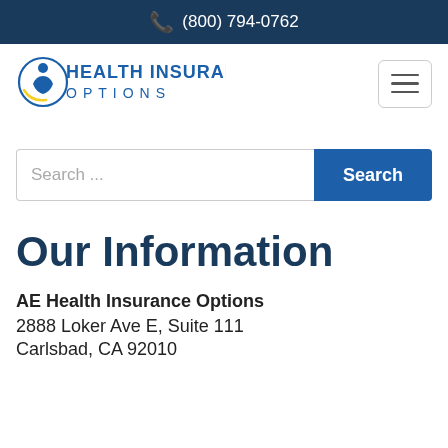(800) 794-0762
[Figure (logo): AE Health Insurance Options logo with circular figure icon and blue text]
Search ...
Our Information
AE Health Insurance Options
2888 Loker Ave E, Suite 111
Carlsbad, CA 92010